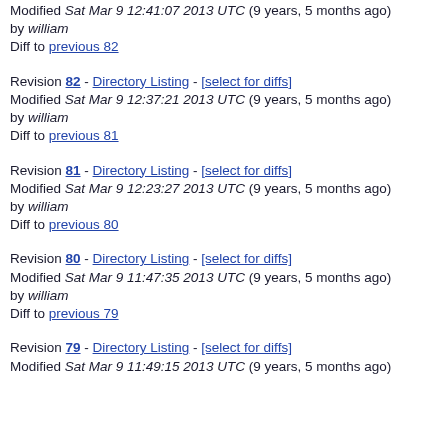Modified Sat Mar 9 12:41:07 2013 UTC (9 years, 5 months ago) by william
Diff to previous 82
Revision 82 - Directory Listing - [select for diffs]
Modified Sat Mar 9 12:37:21 2013 UTC (9 years, 5 months ago) by william
Diff to previous 81
Revision 81 - Directory Listing - [select for diffs]
Modified Sat Mar 9 12:23:27 2013 UTC (9 years, 5 months ago) by william
Diff to previous 80
Revision 80 - Directory Listing - [select for diffs]
Modified Sat Mar 9 11:47:35 2013 UTC (9 years, 5 months ago) by william
Diff to previous 79
Revision 79 - Directory Listing - [select for diffs]
Modified Sat Mar 9 11:49:15 2013 UTC (9 years, 5 months ago)